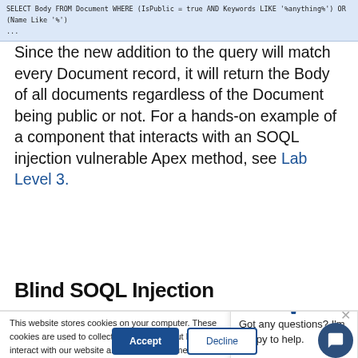[Figure (screenshot): Code block showing SQL injection example: SELECT Body FROM Document WHERE (IsPublic = true AND Keywords LIKE '%anything%') OR (Name Like '%')]
Since the new addition to the query will match every Document record, it will return the Body of all documents regardless of the Document being public or not. For a hands-on example of a component that interacts with an SOQL injection vulnerable Apex method, see Lab Level 3.
Blind SOQL Injection
[Figure (screenshot): Cookie consent overlay with text: 'This website stores cookies on your computer. These cookies are used to collect information about how you interact with our website and allow us to remember you. We use this information in order to improve and customize your browsing experience and for analytics and metrics about our visitors both on this website and other media. To find out more about the cookies we use, see our Privacy Policy. If you decline, your information won't be tracked when you visit this website. A single cookie will be used in your browser to remember your preference not to be tracked.' With Accept and Decline buttons. Also a chat popup: 'Got any questions? I'm happy to help.' with a gear icon and close button. Chat circle widget in bottom right corner.]